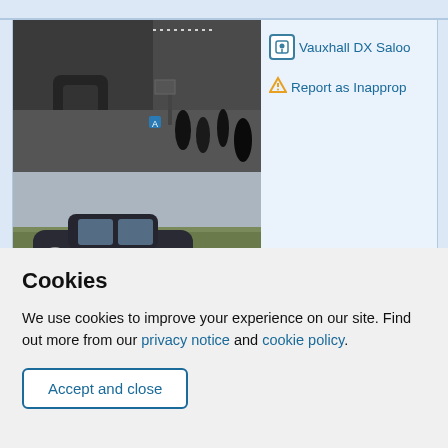[Figure (photo): Black and white aerial/overhead photo of a vintage car parked near a building with people standing around it]
[Figure (photo): Color photo of a dark vintage Vauxhall DX Saloon car driving on a rural road with hedgerows in the background]
Vauxhall DX Saloo
Report as Inapprop
Cookies
We use cookies to improve your experience on our site. Find out more from our privacy notice and cookie policy.
Accept and close